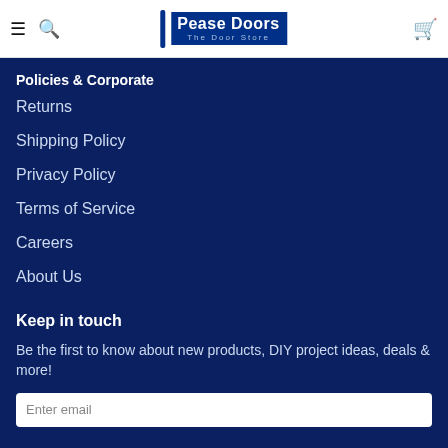Pease Doors – The Door Store
Policies & Corporate
Returns
Shipping Policy
Privacy Policy
Terms of Service
Careers
About Us
Keep in touch
Be the first to know about new products, DIY project ideas, deals & more!
Enter email